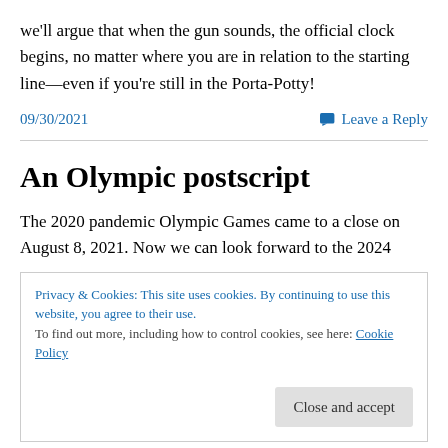we'll argue that when the gun sounds, the official clock begins, no matter where you are in relation to the starting line—even if you're still in the Porta-Potty!
09/30/2021    Leave a Reply
An Olympic postscript
The 2020 pandemic Olympic Games came to a close on August 8, 2021. Now we can look forward to the 2024
Privacy & Cookies: This site uses cookies. By continuing to use this website, you agree to their use.
To find out more, including how to control cookies, see here: Cookie Policy
Close and accept
the way. It seems the rest of the world is catching up with